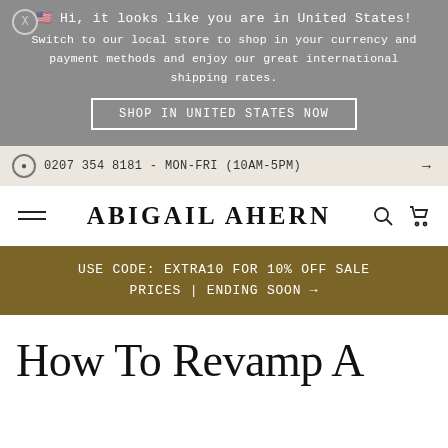Hi, it looks like you are in United States! Switch to our local store to shop in your currency and payment methods and enjoy our great international shipping rates.
SHOP IN UNITED STATES NOW
0207 354 8181 - MON-FRI (10AM-5PM) →
ABIGAIL AHERN
USE CODE: EXTRA10 FOR 10% OFF SALE PRICES | ENDING SOON →
How To Revamp A